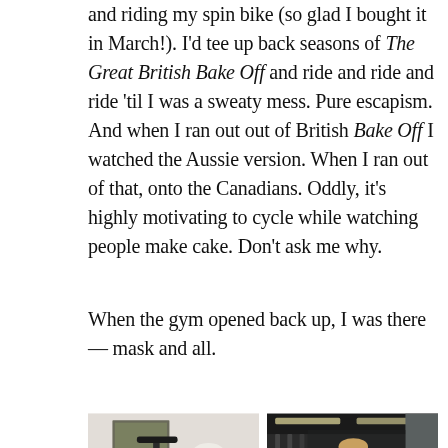and riding my spin bike (so glad I bought it in March!). I'd tee up back seasons of The Great British Bake Off and ride and ride and ride 'til I was a sweaty mess. Pure escapism. And when I ran out out of British Bake Off I watched the Aussie version. When I ran out of that, onto the Canadians. Oddly, it's highly motivating to cycle while watching people make cake. Don't ask me why.
When the gym opened back up, I was there — mask and all.
[Figure (photo): A spin bike in a home living room with bookshelves in the background]
[Figure (photo): A woman wearing a black mask taking a selfie in a gym mirror surrounded by gym equipment]